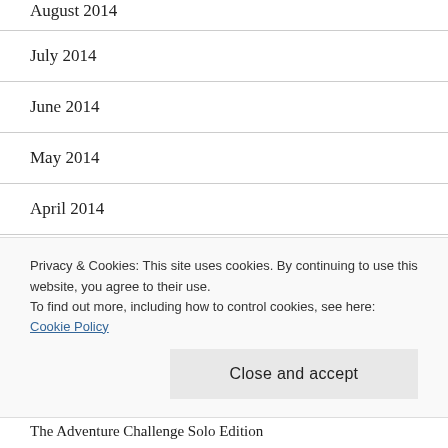August 2014
July 2014
June 2014
May 2014
April 2014
March 2014
February 2014
January 2014
Privacy & Cookies: This site uses cookies. By continuing to use this website, you agree to their use. To find out more, including how to control cookies, see here: Cookie Policy
Close and accept
The Adventure Challenge Solo Edition